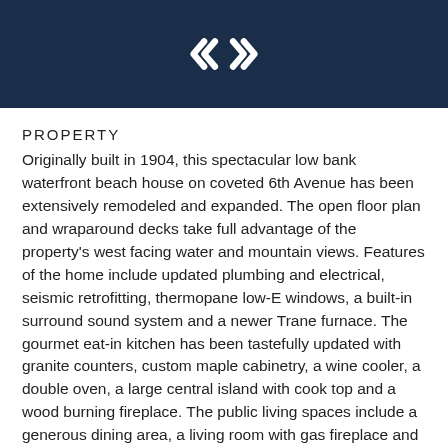[Figure (logo): Diamond-shaped logo with angular bracket/arrow design in white on dark navy background]
PROPERTY
Originally built in 1904, this spectacular low bank waterfront beach house on coveted 6th Avenue has been extensively remodeled and expanded. The open floor plan and wraparound decks take full advantage of the property's west facing water and mountain views. Features of the home include updated plumbing and electrical, seismic retrofitting, thermopane low-E windows, a built-in surround sound system and a newer Trane furnace. The gourmet eat-in kitchen has been tastefully updated with granite counters, custom maple cabinetry, a wine cooler, a double oven, a large central island with cook top and a wood burning fireplace. The public living spaces include a generous dining area, a living room with gas fireplace and a comfortable sitting area off the kitchen. French doors from the kitchen and living room offer easy access to outdoor amenities, which include a large side yard and a fully fenced, heated in-ground pool with custom Trex decking. A bonus room